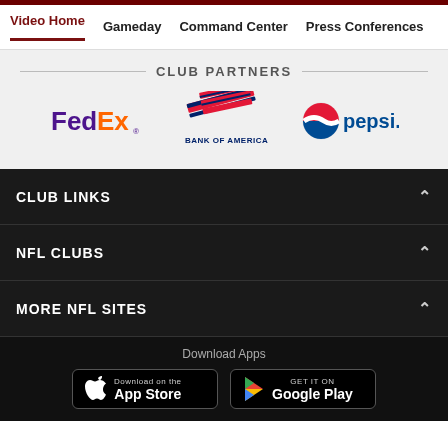Video Home  Gameday  Command Center  Press Conferences
CLUB PARTNERS
[Figure (logo): Three sponsor logos: FedEx, Bank of America, Pepsi]
CLUB LINKS
NFL CLUBS
MORE NFL SITES
Download Apps
[Figure (other): App Store and Google Play download buttons]